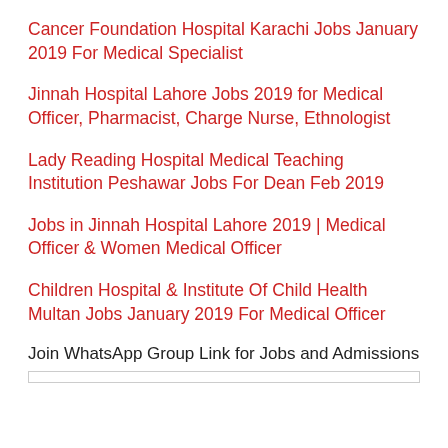Cancer Foundation Hospital Karachi Jobs January 2019 For Medical Specialist
Jinnah Hospital Lahore Jobs 2019 for Medical Officer, Pharmacist, Charge Nurse, Ethnologist
Lady Reading Hospital Medical Teaching Institution Peshawar Jobs For Dean Feb 2019
Jobs in Jinnah Hospital Lahore 2019 | Medical Officer & Women Medical Officer
Children Hospital & Institute Of Child Health Multan Jobs January 2019 For Medical Officer
Join WhatsApp Group Link for Jobs and Admissions